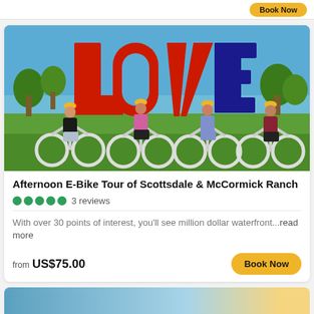[Figure (photo): Four women on white e-bikes wearing yellow helmets, posing in front of a large red LOVE sculpture outdoors on a sunny day with green grass and trees in background.]
Afternoon E-Bike Tour of Scottsdale & McCormick Ranch
3 reviews
With over 30 points of interest, you'll see million dollar waterfront...read more
from US$75.00
Book Now
[Figure (photo): Partial view of another listing card at the bottom of the page.]